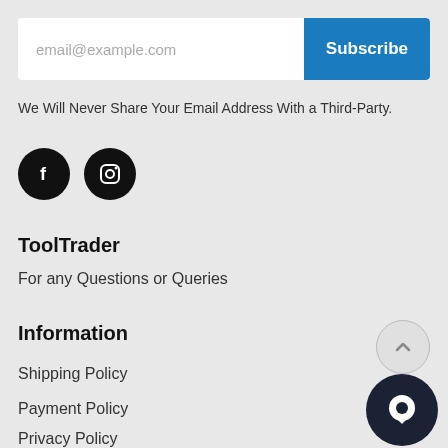[Figure (other): Email subscription input bar with placeholder 'email@example.com' and a blue 'Subscribe' button]
We Will Never Share Your Email Address With a Third-Party.
[Figure (other): Two circular black social media icons: Facebook (f) and Instagram (camera icon)]
ToolTrader
For any Questions or Queries
Information
Shipping Policy
Payment Policy
Privacy Policy